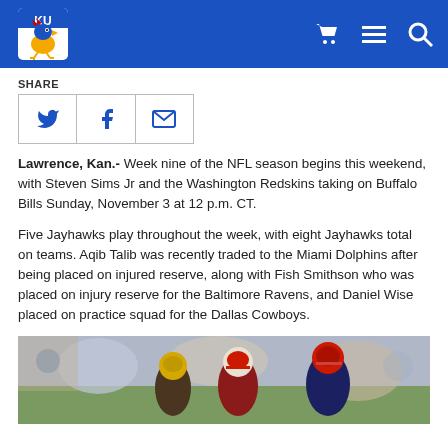KU Athletics header with logo and navigation icons
SHARE
[Figure (illustration): Share buttons row with Twitter, Facebook, and email icons]
Lawrence, Kan.- Week nine of the NFL season begins this weekend, with Steven Sims Jr and the Washington Redskins taking on Buffalo Bills Sunday, November 3 at 12 p.m. CT.
Five Jayhawks play throughout the week, with eight Jayhawks total on teams. Aqib Talib was recently traded to the Miami Dolphins after being placed on injured reserve, along with Fish Smithson who was placed on injury reserve for the Baltimore Ravens, and Daniel Wise placed on practice squad for the Dallas Cowboys.
[Figure (photo): Football game action photo showing players in Washington Redskins and opposing team uniforms]